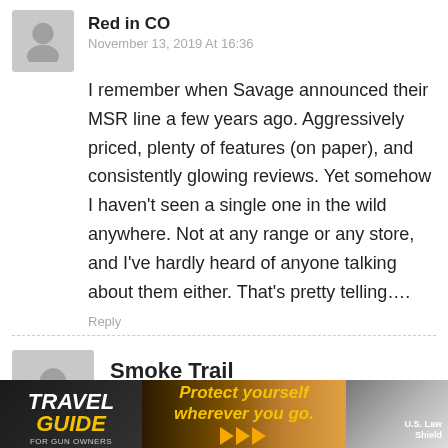Red in CO
November 13, 2019 At 16:36
I remember when Savage announced their MSR line a few years ago. Aggressively priced, plenty of features (on paper), and consistently glowing reviews. Yet somehow I haven't seen a single one in the wild anywhere. Not at any range or any store, and I've hardly heard of anyone talking about them either. That's pretty telling….
Reply
Smoke Trail
November 13, 2019 At 16:45
I'm shocked at how rusty the bolts are on your Caldwell Stinger rest. What's up with that?
Reply
[Figure (infographic): Travel Guide for Gun Owners advertisement banner with text 'Protect yourself wherever you go.' and US LawShield branding]